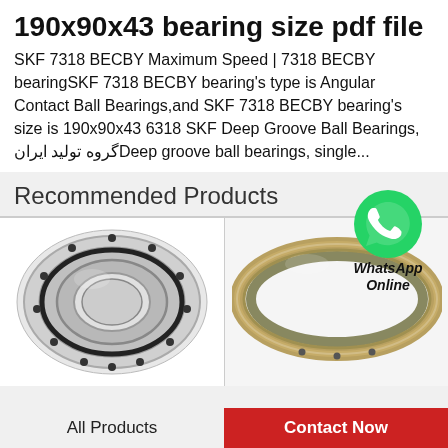190x90x43 bearing size pdf file
SKF 7318 BECBY Maximum Speed | 7318 BECBY bearingSKF 7318 BECBY bearing's type is Angular Contact Ball Bearings,and SKF 7318 BECBY bearing's size is 190x90x43 6318 SKF Deep Groove Ball Bearings, گروه تولید ایرانDeep groove ball bearings, single...
[Figure (logo): WhatsApp green circular icon with phone handset]
Recommended Products
[Figure (photo): Slewing ring bearing with bolt holes, front face view, metallic silver]
[Figure (photo): Large diameter thin-section ball bearing ring, metallic, angled view]
All Products
Contact Now